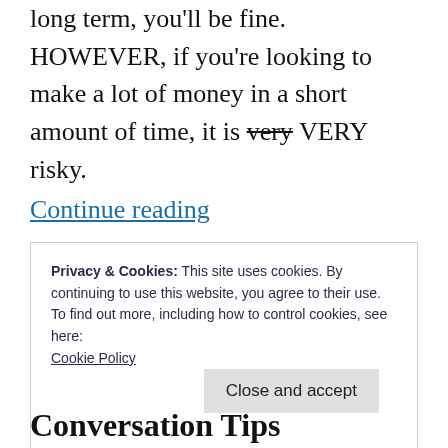long term, you'll be fine. HOWEVER, if you're looking to make a lot of money in a short amount of time, it is very VERY risky.
Continue reading
Privacy & Cookies: This site uses cookies. By continuing to use this website, you agree to their use.
To find out more, including how to control cookies, see here: Cookie Policy
Close and accept
Conversation Tips